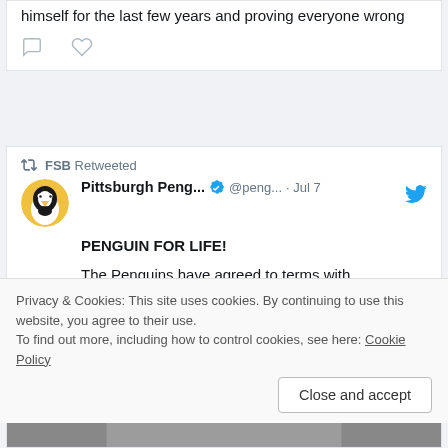himself for the last few years and proving everyone wrong
FSB Retweeted
Pittsburgh Peng... @peng... · Jul 7
PENGUIN FOR LIFE!

The Penguins have agreed to terms with defenseman Kris Letang on a six-year, $36.6 million contract extension.

Details: pens.pe/3yOVmMW
Privacy & Cookies: This site uses cookies. By continuing to use this website, you agree to their use.
To find out more, including how to control cookies, see here: Cookie Policy
Close and accept
[Figure (photo): Partial view of a hockey player image at the bottom of the page]